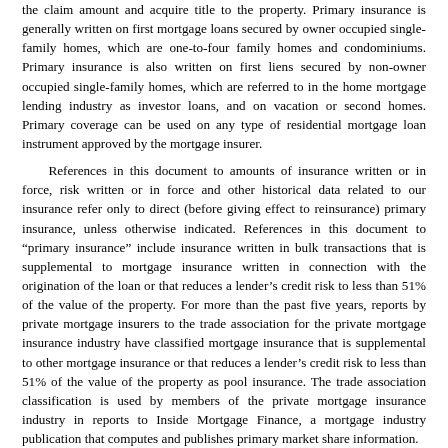the claim amount and acquire title to the property. Primary insurance is generally written on first mortgage loans secured by owner occupied single-family homes, which are one-to-four family homes and condominiums. Primary insurance is also written on first liens secured by non-owner occupied single-family homes, which are referred to in the home mortgage lending industry as investor loans, and on vacation or second homes. Primary coverage can be used on any type of residential mortgage loan instrument approved by the mortgage insurer.
References in this document to amounts of insurance written or in force, risk written or in force and other historical data related to our insurance refer only to direct (before giving effect to reinsurance) primary insurance, unless otherwise indicated. References in this document to “primary insurance” include insurance written in bulk transactions that is supplemental to mortgage insurance written in connection with the origination of the loan or that reduces a lender’s credit risk to less than 51% of the value of the property. For more than the past five years, reports by private mortgage insurers to the trade association for the private mortgage insurance industry have classified mortgage insurance that is supplemental to other mortgage insurance or that reduces a lender’s credit risk to less than 51% of the value of the property as pool insurance. The trade association classification is used by members of the private mortgage insurance industry in reports to Inside Mortgage Finance, a mortgage industry publication that computes and publishes primary market share information.
Primary insurance may be written on a flow basis, in which loans are insured in individual, loan-by-loan transactions, or may be written on a bulk basis, in which each loan in a portfolio of loans is individually insured in a single, bulk transaction. New insurance written on a flow basis was $46.6 billion in 2008 compared to $69.0 billion in 2007 and $39.3 billion in 2006. New insurance written for bulk transactions was $1.6 billion for 2008 compared to $7.8 billion in 2007 and $10.8 billion for 2006. A note titled “Bulk Transactions” below in